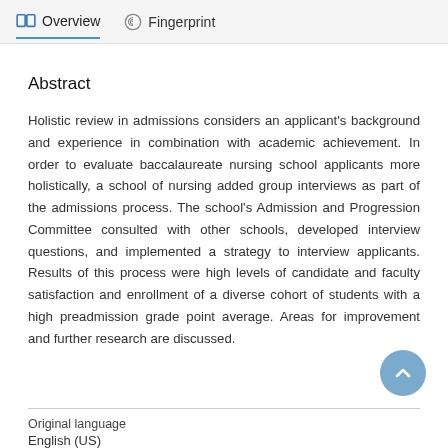Overview   Fingerprint
Abstract
Holistic review in admissions considers an applicant's background and experience in combination with academic achievement. In order to evaluate baccalaureate nursing school applicants more holistically, a school of nursing added group interviews as part of the admissions process. The school's Admission and Progression Committee consulted with other schools, developed interview questions, and implemented a strategy to interview applicants. Results of this process were high levels of candidate and faculty satisfaction and enrollment of a diverse cohort of students with a high preadmission grade point average. Areas for improvement and further research are discussed.
Original language
English (US)